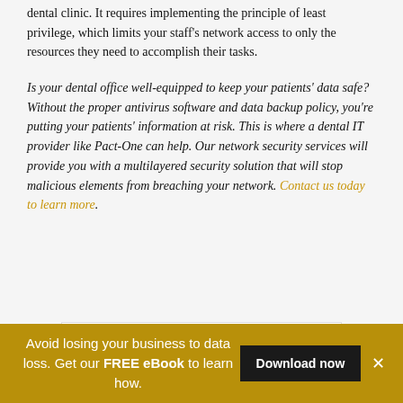dental clinic. It requires implementing the principle of least privilege, which limits your staff's network access to only the resources they need to accomplish their tasks.
Is your dental office well-equipped to keep your patients' data safe? Without the proper antivirus software and data backup policy, you're putting your patients' information at risk. This is where a dental IT provider like Pact-One can help. Our network security services will provide you with a multilayered security solution that will stop malicious elements from breaching your network. Contact us today to learn more.
[Figure (other): White box containing partial bold text, beginning of a section header]
Avoid losing your business to data loss. Get our FREE eBook to learn how. Download now ×